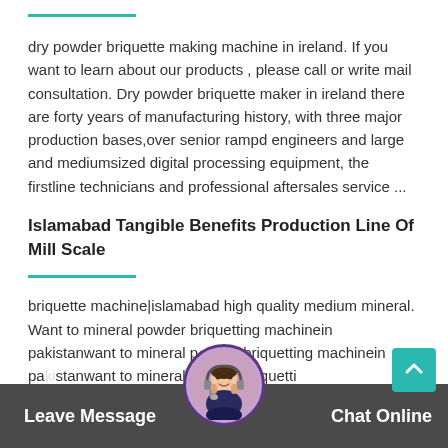dry powder briquette making machine in ireland. If you want to learn about our products , please call or write mail consultation. Dry powder briquette maker in ireland there are forty years of manufacturing history, with three major production bases,over senior rampd engineers and large and mediumsized digital processing equipment, the firstline technicians and professional aftersales service ...
Islamabad Tangible Benefits Production Line Of Mill Scale
briquette machine|islamabad high quality medium mineral. Want to mineral powder briquetting machinein pakistanwant to mineral powder briquetting machinein pakistanwant to mineral powder briquetting machinein pakistanwant to mineral powder briquetti...